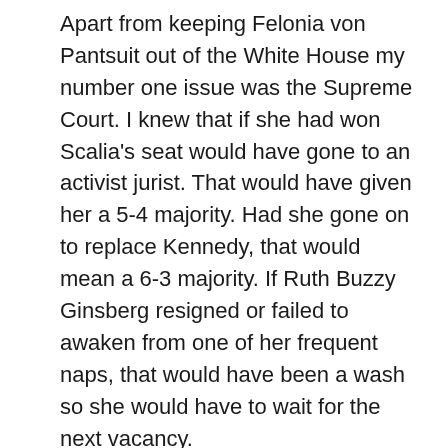Apart from keeping Felonia von Pantsuit out of the White House my number one issue was the Supreme Court. I knew that if she had won Scalia's seat would have gone to an activist jurist. That would have given her a 5-4 majority. Had she gone on to replace Kennedy, that would mean a 6-3 majority. If Ruth Buzzy Ginsberg resigned or failed to awaken from one of her frequent naps, that would have been a wash so she would have to wait for the next vacancy.

Since Trump won the election he got to replace Scalia with another